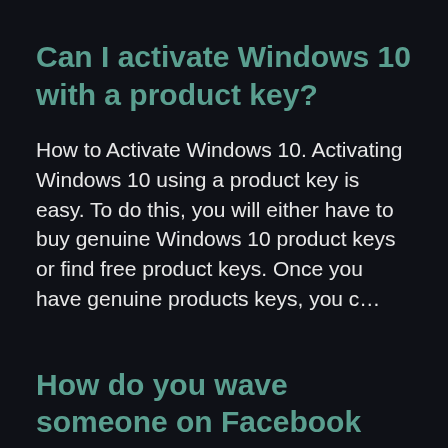Can I activate Windows 10 with a product key?
How to Activate Windows 10. Activating Windows 10 using a product key is easy. To do this, you will either have to buy genuine Windows 10 product keys or find free product keys. Once you have genuine products keys, you c&hellip;
How do you wave someone on Facebook Messenger?
Go ahead and open Facebook messenger. 2